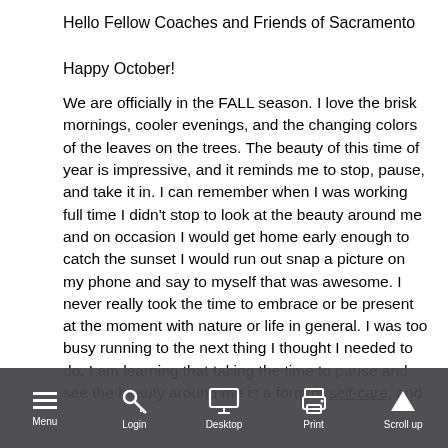Hello Fellow Coaches and Friends of Sacramento
Happy October!
We are officially in the FALL season. I love the brisk mornings, cooler evenings, and the changing colors of the leaves on the trees. The beauty of this time of year is impressive, and it reminds me to stop, pause, and take it in. I can remember when I was working full time I didn't stop to look at the beauty around me and on occasion I would get home early enough to catch the sunset I would run out snap a picture on my phone and say to myself that was awesome. I never really took the time to embrace or be present at the moment with nature or life in general. I was too busy running to the next thing I thought I needed to do. I am learning that taking the time to pause and see the beauty around me is a form of self-care, and at that moment, I am learning to "BE." It has been a freeing moment and it's not something easy to do. I am learning how to "BE" daily. For you all, as we get into the hustle and bustle of the...
[Figure (screenshot): Browser/app toolbar overlay at the bottom of the screen with icons and labels: Menu (hamburger icon), Login (key icon), Desktop (monitor icon), Print (printer icon), Scroll up (up arrow icon)]